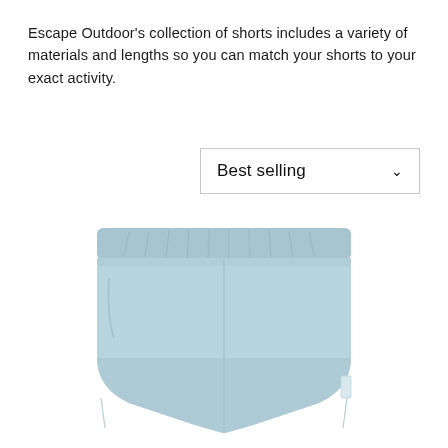Escape Outdoor's collection of shorts includes a variety of materials and lengths so you can match your shorts to your exact activity.
[Figure (screenshot): A dropdown UI element labeled 'Best selling' with a chevron/down arrow on the right side, inside a bordered box.]
[Figure (photo): A pair of light blue/pale blue athletic shorts with an elastic waistband, shown on a white background. The shorts are lightweight with side pockets and a small label tag on the right side.]